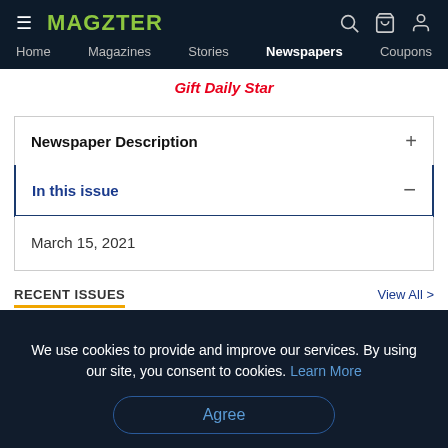MAGZTER — Home | Magazines | Stories | Newspapers | Coupons
Gift Daily Star
Newspaper Description
In this issue
March 15, 2021
RECENT ISSUES
View All >
We use cookies to provide and improve our services. By using our site, you consent to cookies. Learn More
Agree